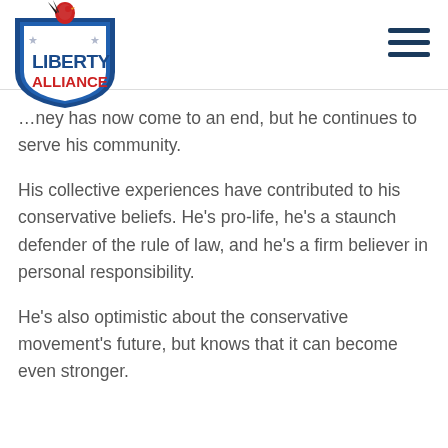[Figure (logo): Liberty Alliance shield logo with rooster on top, blue shield with stars, red and blue text reading LIBERTY ALLIANCE]
...ney has now come to an end, but he continues to serve his community.
His collective experiences have contributed to his conservative beliefs. He’s pro-life, he’s a staunch defender of the rule of law, and he’s a firm believer in personal responsibility.
He’s also optimistic about the conservative movement’s future, but knows that it can become even stronger.